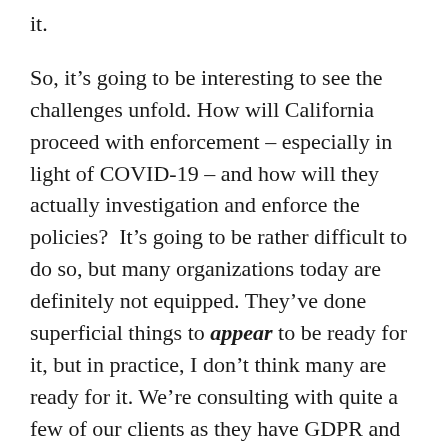it.
So, it's going to be interesting to see the challenges unfold. How will California proceed with enforcement – especially in light of COVID-19 – and how will they actually investigation and enforce the policies?  It's going to be rather difficult to do so, but many organizations today are definitely not equipped. They've done superficial things to appear to be ready for it, but in practice, I don't think many are ready for it. We're consulting with quite a few of our clients as they have GDPR and related privacy issues that come up.